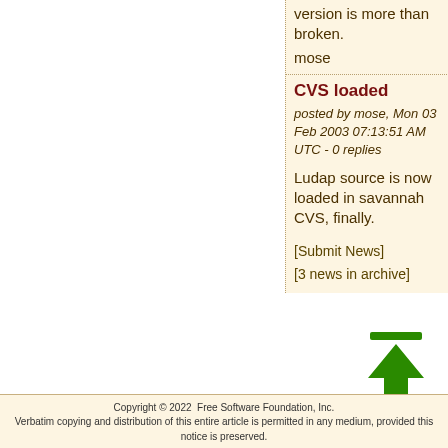version is more than broken.
mose
CVS loaded
posted by mose, Mon 03 Feb 2003 07:13:51 AM UTC - 0 replies
Ludap source is now loaded in savannah CVS, finally.
[Submit News]
[3 news in archive]
[Figure (illustration): Green upward arrow icon with a horizontal bar on top]
Copyright © 2022  Free Software Foundation, Inc.
Verbatim copying and distribution of this entire article is permitted in any medium, provided this notice is preserved.